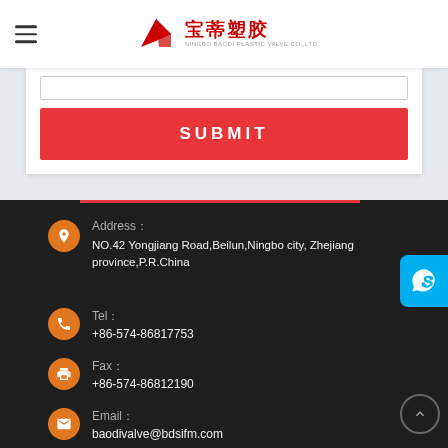[Figure (logo): 宝蒂塑胶 (Baodi Plastic Valve Co.,Ltd) company logo with red arrow/triangle icon]
[Figure (other): Submit button - red rectangle with white SUBMIT text]
Address：
NO.42 Yongjiang Road,Beilun,Ningbo city, Zhejiang province,P.R.China
Tel：
+86-574-86817753
Fax：
+86-574-86812190
Email：
baodivalve@bdsifm.com